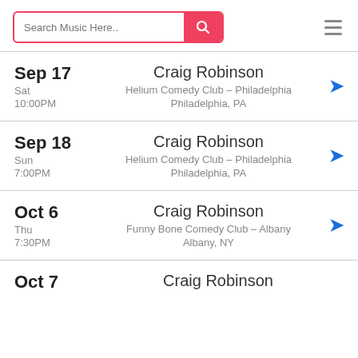Search Music Here..
Sep 17 | Sat | 10:00PM | Craig Robinson | Helium Comedy Club - Philadelphia | Philadelphia, PA
Sep 18 | Sun | 7:00PM | Craig Robinson | Helium Comedy Club - Philadelphia | Philadelphia, PA
Oct 6 | Thu | 7:30PM | Craig Robinson | Funny Bone Comedy Club - Albany | Albany, NY
Oct 7 | Craig Robinson